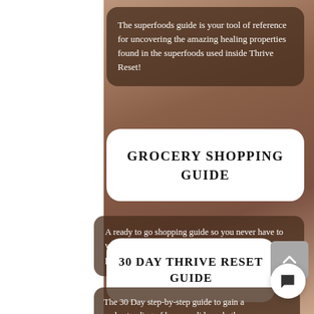The superfoods guide is your tool of reference for uncovering the amazing healing properties found in the superfoods used inside Thrive Reset!
GROCERY SHOPPING GUIDE
A ready to go shopping guide so you never have to wander up and down the aisles second guessing your purchases and wasting time.
30 DAY THRIVE RESET GUIDE
The 30 Day step-by-step guide to gain a understanding of how candida and other